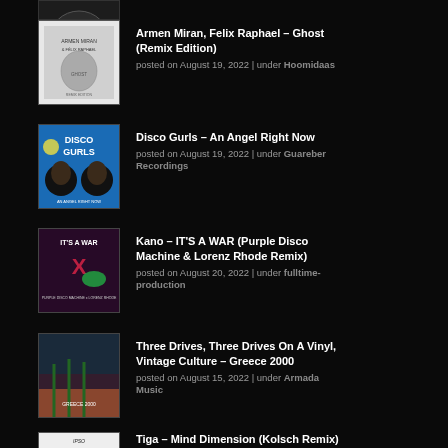[Figure (photo): Partial album art at top of page (cropped), circular logo]
Armen Miran, Felix Raphael – Ghost (Remix Edition)
posted on August 19, 2022 | under Hoomidaas
Disco Gurls – An Angel Right Now
posted on August 19, 2022 | under Guareber Recordings
Kano – IT'S A WAR (Purple Disco Machine & Lorenz Rhode Remix)
posted on August 20, 2022 | under fulltime-production
Three Drives, Three Drives On A Vinyl, Vintage Culture – Greece 2000
posted on August 15, 2022 | under Armada Music
Tiga – Mind Dimension (Kolsch Remix)
posted on August 20, 2022 | under Different